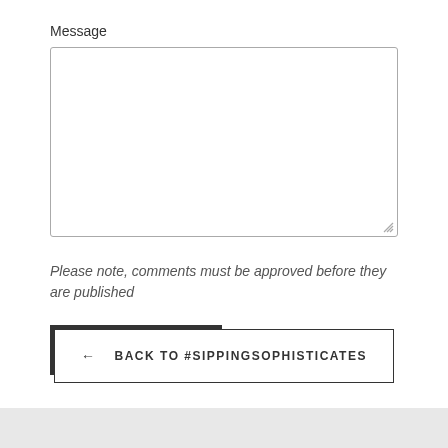Message
[Figure (other): Large empty textarea input box for entering a message]
Please note, comments must be approved before they are published
POST COMMENT
← BACK TO #SIPPINGSOPHISTICATES